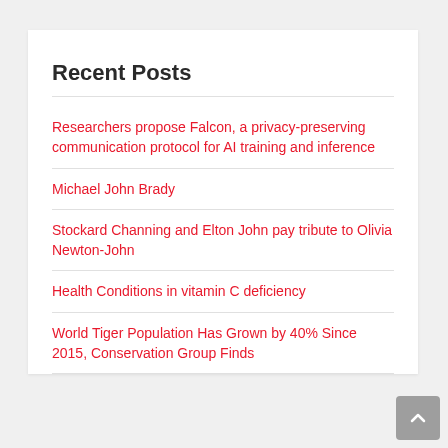Recent Posts
Researchers propose Falcon, a privacy-preserving communication protocol for AI training and inference
Michael John Brady
Stockard Channing and Elton John pay tribute to Olivia Newton-John
Health Conditions in vitamin C deficiency
World Tiger Population Has Grown by 40% Since 2015, Conservation Group Finds